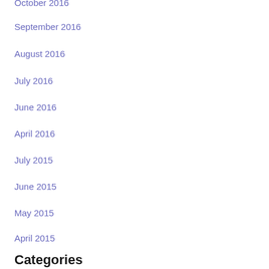October 2016
September 2016
August 2016
July 2016
June 2016
April 2016
July 2015
June 2015
May 2015
April 2015
March 2015
Categories